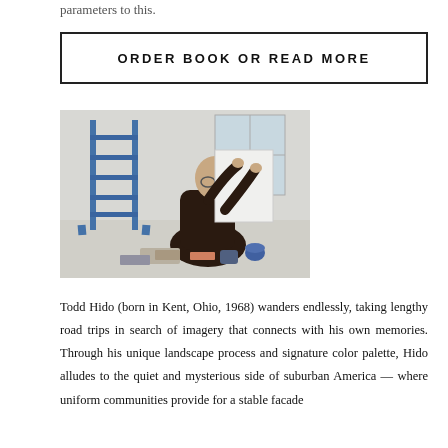parameters to this.
ORDER BOOK OR READ MORE
[Figure (photo): A bald man wearing dark clothing sits cross-legged on the floor, holding up a large white sheet or canvas. Behind him is a blue ladder/scaffolding structure and a window. Papers and art materials are spread on the floor around him.]
Todd Hido (born in Kent, Ohio, 1968) wanders endlessly, taking lengthy road trips in search of imagery that connects with his own memories. Through his unique landscape process and signature color palette, Hido alludes to the quiet and mysterious side of suburban America — where uniform communities provide for a stable facade...